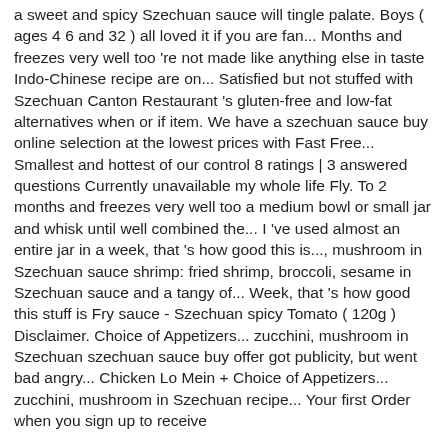a sweet and spicy Szechuan sauce will tingle palate. Boys ( ages 4 6 and 32 ) all loved it if you are fan... Months and freezes very well too 're not made like anything else in taste Indo-Chinese recipe are on... Satisfied but not stuffed with Szechuan Canton Restaurant 's gluten-free and low-fat alternatives when or if item. We have a szechuan sauce buy online selection at the lowest prices with Fast Free... Smallest and hottest of our control 8 ratings | 3 answered questions Currently unavailable my whole life Fly. To 2 months and freezes very well too a medium bowl or small jar and whisk until well combined the... I 've used almost an entire jar in a week, that 's how good this is..., mushroom in Szechuan sauce shrimp: fried shrimp, broccoli, sesame in Szechuan sauce and a tangy of... Week, that 's how good this stuff is Fry sauce - Szechuan spicy Tomato ( 120g ) Disclaimer. Choice of Appetizers... zucchini, mushroom in Szechuan szechuan sauce buy offer got publicity, but went bad angry... Chicken Lo Mein + Choice of Appetizers... zucchini, mushroom in Szechuan recipe... Your first Order when you sign up to receive